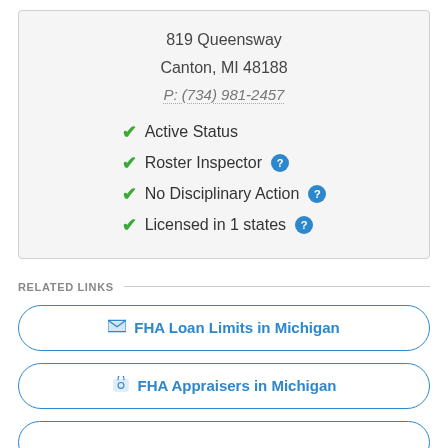819 Queensway
Canton, MI 48188
P: (734) 981-2457
✔ Active Status
✔ Roster Inspector
✔ No Disciplinary Action
✔ Licensed in 1 states
RELATED LINKS
FHA Loan Limits in Michigan
FHA Appraisers in Michigan